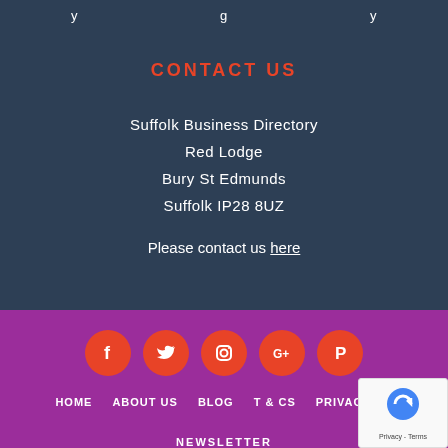y  g  y
CONTACT US
Suffolk Business Directory
Red Lodge
Bury St Edmunds
Suffolk IP28 8UZ
Please contact us here
[Figure (infographic): Social media icons row: Facebook, Twitter, Instagram, Google+, Pinterest — orange circles on purple background]
HOME  ABOUT US  BLOG  T & Cs  PRIVACY PO...  NEWSLETTER